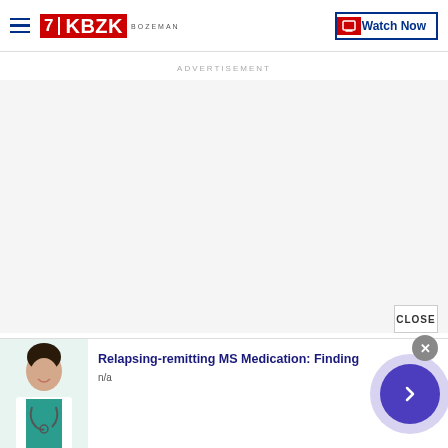KBZK BOZEMAN | Watch Now
ADVERTISEMENT
[Figure (screenshot): Empty advertisement area with white/light grey background]
CLOSE
[Figure (photo): Photo of a smiling medical professional with stethoscope]
Relapsing-remitting MS Medication: Finding
n/a